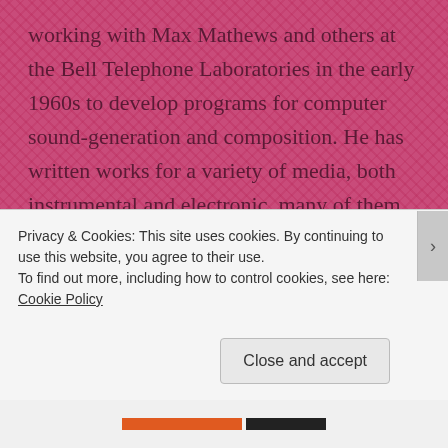working with Max Mathews and others at the Bell Telephone Laboratories in the early 1960s to develop programs for computer sound-generation and composition. He has written works for a variety of media, both instrumental and electronic, many of them using alternative tuning systems.
Tenney is the author of several articles on musical acoustics, computer music, and musical form and perception, as well as two books: META + HODOS: A Phenomenology of 20th-Century Musical Materials and an Approach to the Study of Form (1961; Frog Peak,
Privacy & Cookies: This site uses cookies. By continuing to use this website, you agree to their use.
To find out more, including how to control cookies, see here: Cookie Policy